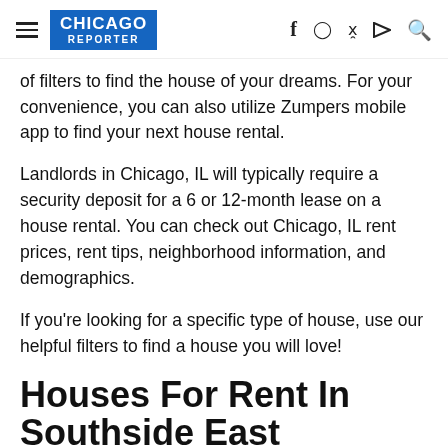CHICAGO REPORTER
of filters to find the house of your dreams. For your convenience, you can also utilize Zumpers mobile app to find your next house rental.
Landlords in Chicago, IL will typically require a security deposit for a 6 or 12-month lease on a house rental. You can check out Chicago, IL rent prices, rent tips, neighborhood information, and demographics.
If you're looking for a specific type of house, use our helpful filters to find a house you will love!
Houses For Rent In Southside East Chicago East Chicago In13 Rentals Available